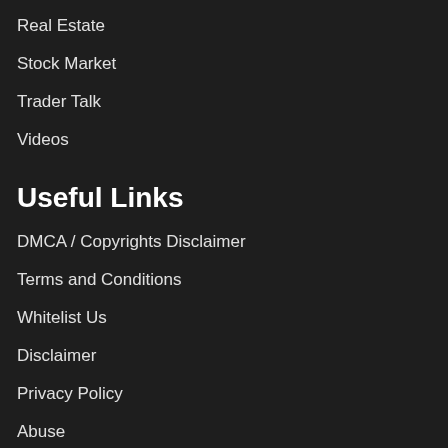Real Estate
Stock Market
Trader Talk
Videos
Useful Links
DMCA / Copyrights Disclaimer
Terms and Conditions
Whitelist Us
Disclaimer
Privacy Policy
Abuse